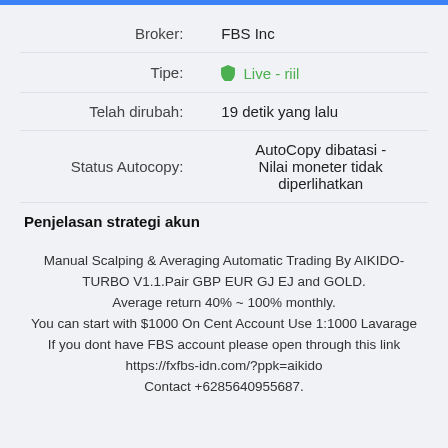| Field | Value |
| --- | --- |
| Broker: | FBS Inc |
| Tipe: | Live - riil |
| Telah dirubah: | 19 detik yang lalu |
| Status Autocopy: | AutoCopy dibatasi - Nilai moneter tidak diperlihatkan |
Penjelasan strategi akun
Manual Scalping & Averaging Automatic Trading By AIKIDO-TURBO V1.1.Pair GBP EUR GJ EJ and GOLD.
Average return 40% ~ 100% monthly.
You can start with $1000 On Cent Account Use 1:1000 Lavarage If you dont have FBS account please open through this link https://fxfbs-idn.com/?ppk=aikido
Contact +6285640955687.